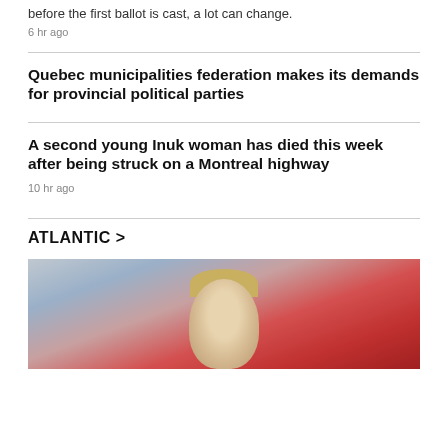before the first ballot is cast, a lot can change.
6 hr ago
Quebec municipalities federation makes its demands for provincial political parties
A second young Inuk woman has died this week after being struck on a Montreal highway
10 hr ago
ATLANTIC >
[Figure (photo): Photo of a person with blonde hair in front of a Canadian flag with red maple leaf background]